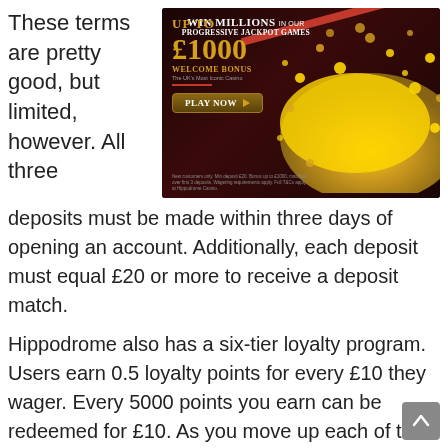These terms are pretty good, but limited, however. All three deposits must be made within three days of opening an account. Additionally, each deposit must equal £20 or more to receive a deposit match.
[Figure (illustration): Casino advertisement banner with dark red background, gold coin pile, red diagonal stripe. Text reads: UP TO £1000 WELCOME BONUS, WIN MILLIONS IN OUR PROGRESSIVE JACKPOT GAMES, PLAY NOW button.]
Hippodrome also has a six-tier loyalty program. Users earn 0.5 loyalty points for every £10 they wager. Every 5000 points you earn can be redeemed for £10. As you move up each of the six tiers in the loyalty program, you'll receive bigger and better rewards.